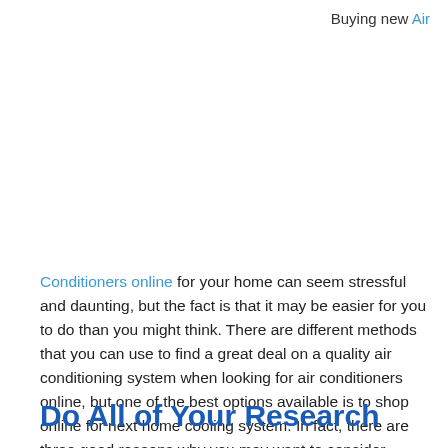Buying new Air
Conditioners online for your home can seem stressful and daunting, but the fact is that it may be easier for you to do than you might think. There are different methods that you can use to find a great deal on a quality air conditioning system when looking for air conditioners online, but one of the best options available is to shop online for next home cooling system. In fact, there are three good reasons why you may want to consider shopping online for a new air conditioner today.
Do All of Your Research